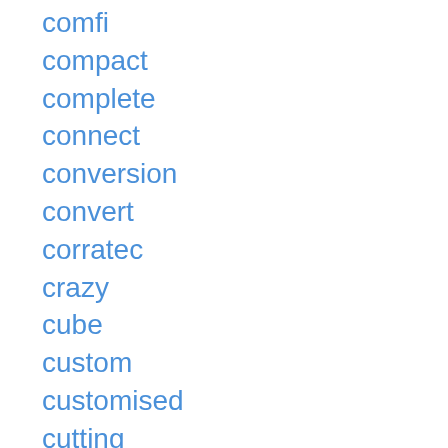comfi
compact
complete
connect
conversion
convert
corratec
crazy
cube
custom
customised
cutting
cyclamatic
cyrusher
danish